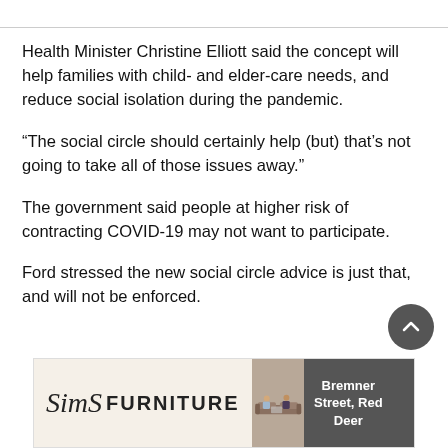Health Minister Christine Elliott said the concept will help families with child- and elder-care needs, and reduce social isolation during the pandemic.
“The social circle should certainly help (but) that’s not going to take all of those issues away.”
The government said people at higher risk of contracting COVID-19 may not want to participate.
Ford stressed the new social circle advice is just that, and will not be enforced.
[Figure (photo): Advertisement banner for Sims Furniture with logo, photo of two people on a couch, and address text reading Bremner Street, Red Deer]